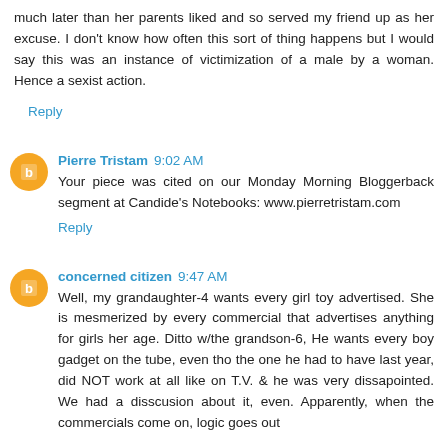much later than her parents liked and so served my friend up as her excuse. I don't know how often this sort of thing happens but I would say this was an instance of victimization of a male by a woman. Hence a sexist action.
Reply
Pierre Tristam 9:02 AM
Your piece was cited on our Monday Morning Bloggerback segment at Candide's Notebooks: www.pierretristam.com
Reply
concerned citizen 9:47 AM
Well, my grandaughter-4 wants every girl toy advertised. She is mesmerized by every commercial that advertises anything for girls her age. Ditto w/the grandson-6, He wants every boy gadget on the tube, even tho the one he had to have last year, did NOT work at all like on T.V. & he was very dissapointed. We had a disscusion about it, even. Apparently, when the commercials come on, logic goes out